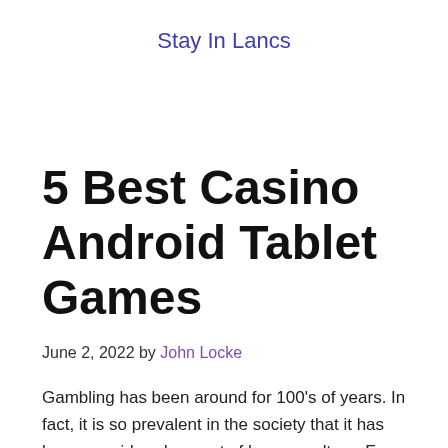Stay In Lancs
5 Best Casino Android Tablet Games
June 2, 2022 by John Locke
Gambling has been around for 100's of years. In fact, it is so prevalent in the society that it has been considered as part of human culture. From ancient Romans, to ancient Chinese, to modern civilizations, gambling has